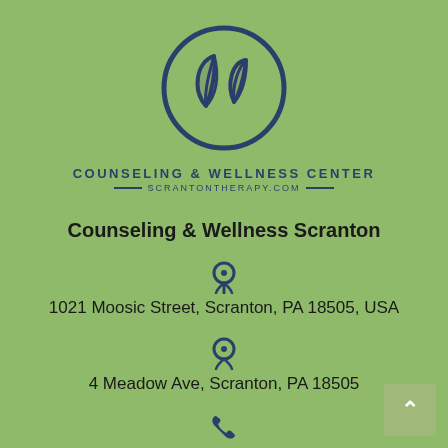[Figure (logo): Circular logo with two overlapping leaf shapes inside a dark navy circle outline, for Counseling & Wellness Center Scranton]
COUNSELING & WELLNESS CENTER
—SCRANTONTHERAPY.COM—
Counseling & Wellness Scranton
1021 Moosic Street, Scranton, PA 18505, USA
4 Meadow Ave, Scranton, PA 18505
(570) 344...ll(035)